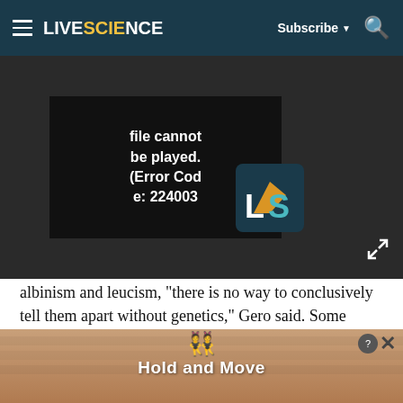LIVESCIENCE  Subscribe  [search]
[Figure (screenshot): Video player showing error message: 'file cannot be played. (Error Code: 224003)' with LiveScience logo overlay and expand icon]
albinism and leucism, "there is no way to conclusively tell them apart without genetics," Gero said. Some researchers believe eye color can also distinguish the two conditions, because most albino whales have red eyes, but this is not a guarantee, Gero said.
"The whale in Jamaica is very white, and my guess is it's an albino — but that's just my guess," Gero said.
Critics have long debated the significance of Melville's decision to make Moby Dick white. Some people
[Figure (screenshot): Advertisement banner showing 'Hold and Move' game with blue cartoon figures on a wooden background]